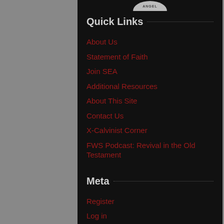[Figure (logo): Partial circular logo/badge at top center, gray colored, cropped at top]
Quick Links
About Us
Statement of Faith
Join SEA
Additional Resources
About This Site
Contact Us
X-Calvinist Corner
FWS Podcast: Revival in the Old Testament
Meta
Register
Log in
Entries feed
Comments feed
WordPress.org